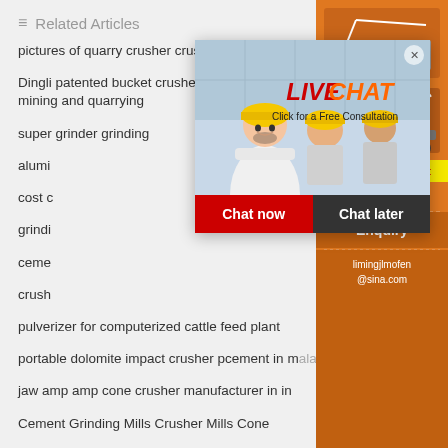Related Articles
pictures of quarry crusher crushers
Dingli patented bucket crusher impact crusher for mining and quarrying
super grinder grinding
alumi... [partially obscured]
cost c... [partially obscured]
grindi... [partially obscured]
ceme... [partially obscured]
crush... [partially obscured]
pulverizer for computerized cattle feed plant
portable dolomite impact crusher pcement in malaysia
jaw amp amp cone crusher manufacturer in in...
Cement Grinding Mills Crusher Mills Cone
grinding mills for sale in sri lanka
tipos de molinos para molienda
[Figure (photo): Orange sidebar ad with machinery images, showing equipment and 'Enjoy 3% discount / Click to Chat' text, with Enquiry and email contact box]
[Figure (photo): Live chat popup overlay showing workers in yellow hard hats with LIVE CHAT text, Click for a Free Consultation, Chat now and Chat later buttons]